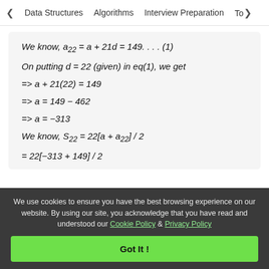< Data Structures   Algorithms   Interview Preparation   To>
We use cookies to ensure you have the best browsing experience on our website. By using our site, you acknowledge that you have read and understood our Cookie Policy & Privacy Policy
Got It !